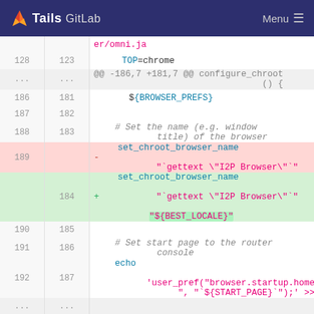Tails GitLab  Menu
[Figure (screenshot): GitLab diff view showing code changes in a shell script. Lines 128-192 are shown. A removed line (189) shows set_chroot_browser_name with I2P Browser gettext. An added line (184) shows the same command with an additional ${BEST_LOCALE} variable highlighted in green.]